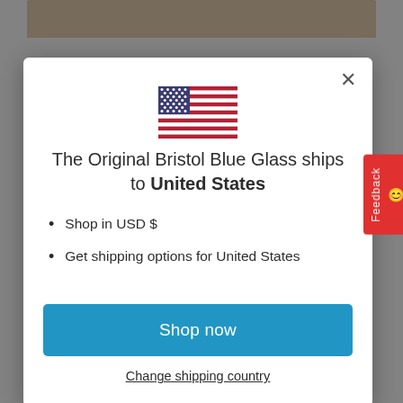[Figure (screenshot): E-commerce page screenshot showing a modal dialog for country shipping selection. Background shows product images and prices (From £30.00, From £27.00). Modal contains US flag, title text, bullet points, Shop now button, and Change shipping country link.]
The Original Bristol Blue Glass ships to United States
Shop in USD $
Get shipping options for United States
Shop now
Change shipping country